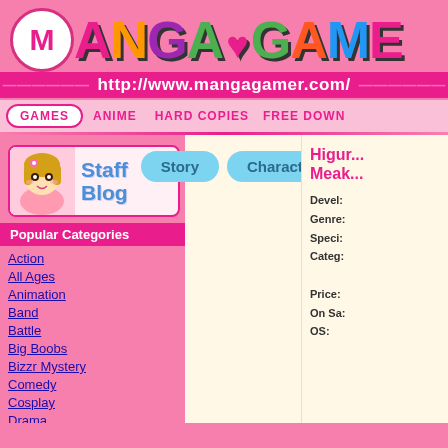[Figure (logo): MangaGamer logo with colorful letters and heart, on pink background with URL http://www.mangagamer.com/]
GAMES | ANIME | HARD COPIES | FREE DOWN
[Figure (illustration): Staff Blog banner with anime character]
Popular Categories
Action
All Ages
Animation
Band
Battle
Big Boobs
Bizzr Mystery
Comedy
Cosplay
Drama
Education
Family
Fantasy
[Figure (screenshot): Story/Characters tab area with cream background]
Higur... Meak...
Devel:
Genre:
Speci:
Categ:

Price:
On Sa:
OS: